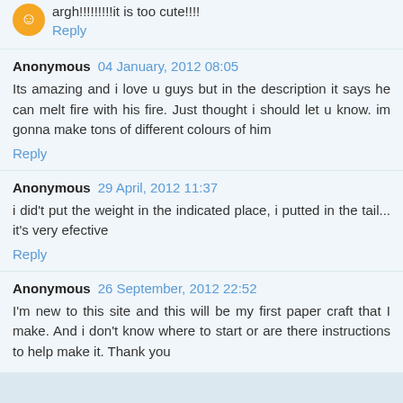argh!!!!!!!!!it is too cute!!!!
Reply
Anonymous  04 January, 2012 08:05
Its amazing and i love u guys but in the description it says he can melt fire with his fire. Just thought i should let u know. im gonna make tons of different colours of him
Reply
Anonymous  29 April, 2012 11:37
i did't put the weight in the indicated place, i putted in the tail... it's very efective
Reply
Anonymous  26 September, 2012 22:52
I'm new to this site and this will be my first paper craft that I make. And i don't know where to start or are there instructions to help make it. Thank you